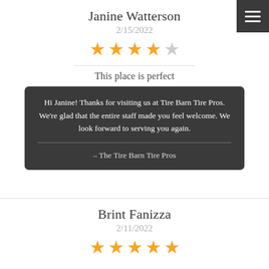Janine Watterson
2/15/2022
[Figure (other): 4 out of 5 stars rating (4 gold stars, 1 gray star)]
This place is perfect
Hi Janine! Thanks for visiting us at Tire Barn Tire Pros. We're glad that the entire staff made you feel welcome. We look forward to serving you again.
– The Tire Barn Tire Pros
Brint Fanizza
2/11/2022
[Figure (other): 5 out of 5 stars rating (5 gold stars)]